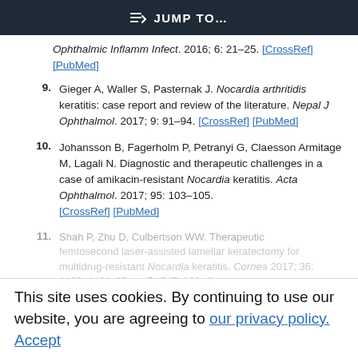JUMP TO...
Ophthalmic Inflamm Infect. 2016; 6: 21–25. [CrossRef] [PubMed]
9. Gieger A, Waller S, Pasternak J. Nocardia arthritidis keratitis: case report and review of the literature. Nepal J Ophthalmol. 2017; 9: 91–94. [CrossRef] [PubMed]
10. Johansson B, Fagerholm P, Petranyi G, Claesson Armitage M, Lagali N. Diagnostic and therapeutic challenges in a case of amikacin-resistant Nocardia keratitis. Acta Ophthalmol. 2017; 95: 103–105. [CrossRef] [PubMed]
11. Shah P, Zhu D, Culbertson WW. Therapeutic ... [CrossRef] [PubMed]
This site uses cookies. By continuing to use our website, you are agreeing to our privacy policy. Accept